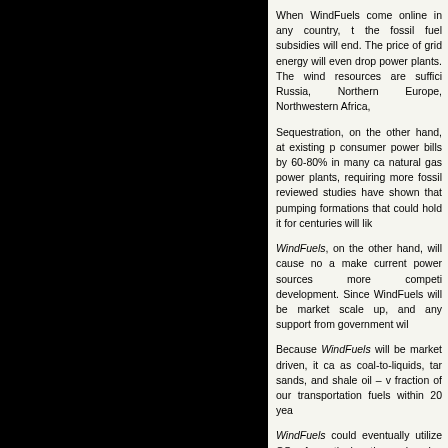When WindFuels come online in any country, the fossil fuel subsidies will end. The price of grid energy will even drop due to retirement of peaker power plants. The wind resources are sufficient to power at least Russia, Northern Europe, Northwestern Africa,
Sequestration, on the other hand, at existing power plants, will raise consumer power bills by 60-80% in many cases. It will also burden natural gas power plants, requiring more fossil fuels. Peer-reviewed studies have shown that pumping CO2 into geological formations that could hold it for centuries will lik
WindFuels, on the other hand, will cause no additional pollution, make current power sources more competitive, and spur further development. Since WindFuels will be market-driven, they should easily scale up, and any support from government wil
Because WindFuels will be market driven, it can outcompete sources such as coal-to-liquids, tar sands, and shale oil – which could comprise a large fraction of our transportation fuels within 20 yea
WindFuels could eventually utilize CO2 from the air. However, it could be three decades before taking CO2 from the air is economical. (More detail in question 36.)
We agree that CO2 separation should be requi